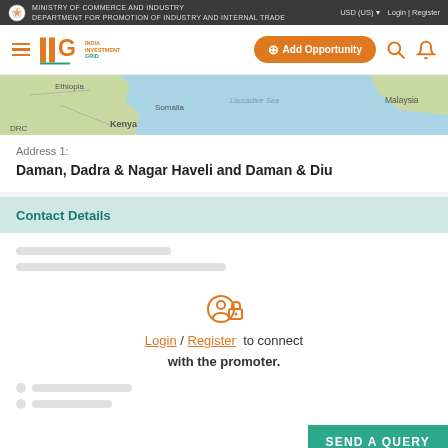MINISTRY OF COMMERCE AND INDUSTRY | DEPARTMENT FOR PROMOTION OF INDUSTRY AND INTERNAL TRADE | USD (US) | Login | Register
[Figure (screenshot): India Investment Grid (IIG) navigation bar with hamburger menu, IIG logo, Add Opportunity button, search icon, and notification bell]
[Figure (map): World map showing Africa, Indian Ocean, and Southeast Asia including Kenya, Somalia, and Malaysia]
Address 1:
Daman, Dadra & Nagar Haveli and Daman & Diu
Contact Details
Login / Register to connect with the promoter.
SEND A QUERY
Disclaimer